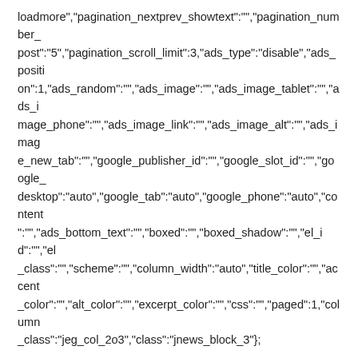loadmore","pagination_nextprev_showtext":"","pagination_number_post":"5","pagination_scroll_limit":3,"ads_type":"disable","ads_position":1,"ads_random":"","ads_image":"","ads_image_tablet":"","ads_image_phone":"","ads_image_link":"","ads_image_alt":"","ads_image_new_tab":"","google_publisher_id":"","google_slot_id":"","google_desktop":"auto","google_tab":"auto","google_phone":"auto","content":"","ads_bottom_text":"","boxed":"","boxed_shadow":"","el_id":"","el_class":"","scheme":"","column_width":"auto","title_color":"","accent_color":"","alt_color":"","excerpt_color":"","css":"","paged":1,"column_class":"jeg_col_2o3","class":"jnews_block_3"};
Trending
Comments
Latest
Grayscale is interested in filing for a US bitcoin ETF if regulators give the green light, its chief executive says